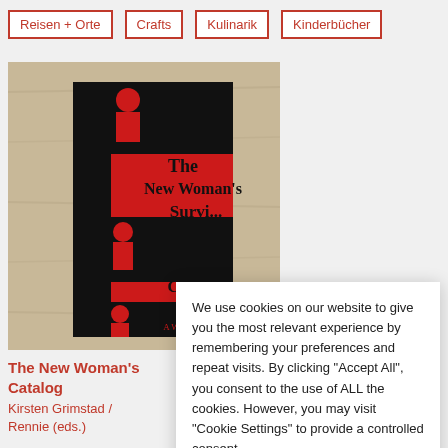Reisen + Orte | Crafts | Kulinarik | Kinderbücher
[Figure (photo): A red book titled 'The New Woman's Survival Catalog' placed on a light wood surface]
The New Woman's Catalog
Kirsten Grimstad / Susan Rennie (eds.)
We use cookies on our website to give you the most relevant experience by remembering your preferences and repeat visits. By clicking "Accept All", you consent to the use of ALL the cookies. However, you may visit "Cookie Settings" to provide a controlled consent.